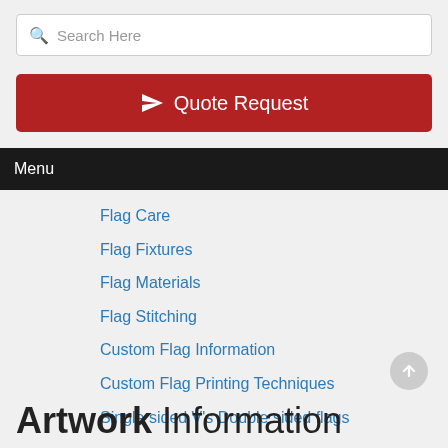Search Here
Quote Request
Menu
Flag Care
Flag Fixtures
Flag Materials
Flag Stitching
Custom Flag Information
Custom Flag Printing Techniques
Single sided V's Double sided flags
Artwork Information